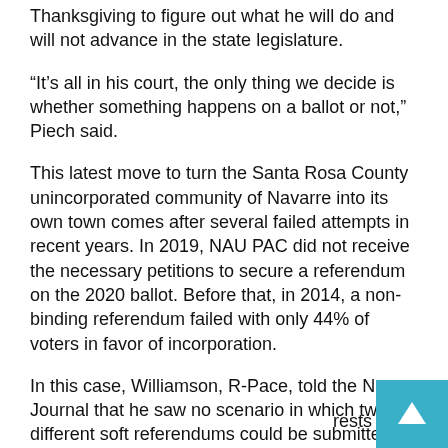Thanksgiving to figure out what he will do and will not advance in the state legislature.
“It’s all in his court, the only thing we decide is whether something happens on a ballot or not,” Piech said.
This latest move to turn the Santa Rosa County unincorporated community of Navarre into its own town comes after several failed attempts in recent years. In 2019, NAU PAC did not receive the necessary petitions to secure a referendum on the 2020 ballot. Before that, in 2014, a non-binding referendum failed with only 44% of voters in favor of incorporation.
In this case, Williamson, R-Pace, told the News Journal that he saw no scenario in which two different soft referendums could be submitted to the Legislature because separate groups cannot incorporate in same time. He said the smartest thing these groups can do is consolidate – something they’ve already said isn’t going to happen. He added that the process of determining how the non-binding referendum is conducted rests